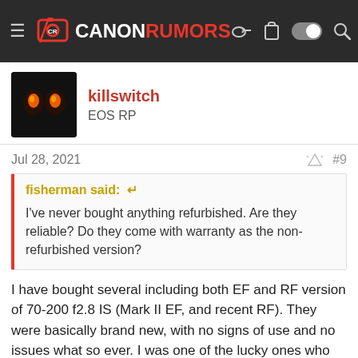CANON RUMORS
killswitch
EOS RP
Jul 28, 2021  #9
fisherman said:
I've never bought anything refurbished. Are they reliable? Do they come with warranty as the non-refurbished version?
I have bought several including both EF and RF version of 70-200 f2.8 IS (Mark II EF, and recent RF). They were basically brand new, with no signs of use and no issues what so ever. I was one of the lucky ones who got the RF 70-200 Refurb from Canon when it was discounted to $2024 only back in Dec 2020 or Jan 2021 (I think).